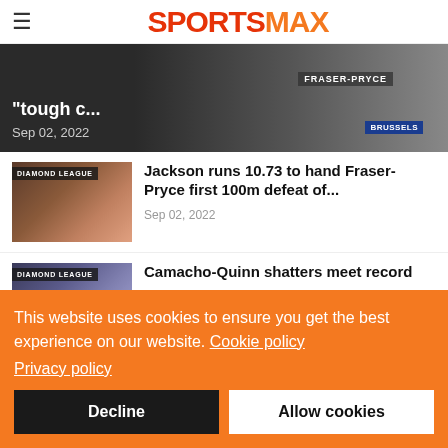SPORTSMAX
[Figure (photo): Partial hero image showing '"tough c...' text and Fraser-Pryce Brussels event overlay, dated Sep 02, 2022]
[Figure (photo): Diamond League thumbnail showing two athletes running]
Jackson runs 10.73 to hand Fraser-Pryce first 100m defeat of...
Sep 02, 2022
[Figure (photo): Diamond League thumbnail for Camacho-Quinn article]
Camacho-Quinn shatters meet record
This website uses cookies to ensure you get the best experience on our website. Cookie policy Privacy policy
Decline
Allow cookies